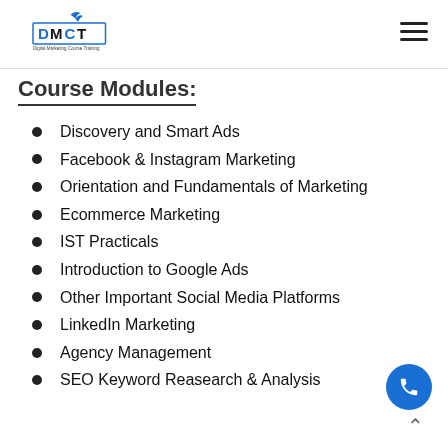DMCT Digital Marketing Course Training
Course Modules:
Discovery and Smart Ads
Facebook & Instagram Marketing
Orientation and Fundamentals of Marketing
Ecommerce Marketing
IST Practicals
Introduction to Google Ads
Other Important Social Media Platforms
LinkedIn Marketing
Agency Management
SEO Keyword Reasearch & Analysis